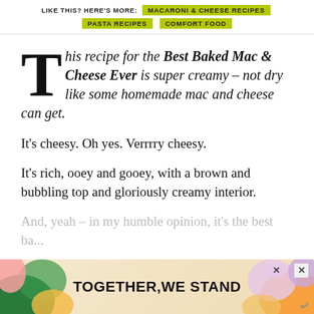LIKE THIS? HERE'S MORE: MACARONI & CHEESE RECIPES PASTA RECIPES COMFORT FOOD
This recipe for the Best Baked Mac & Cheese Ever is super creamy – not dry like some homemade mac and cheese can get.
It's cheesy. Oh yes. Verrrry cheesy.
It's rich, ooey and gooey, with a brown and bubbling top and gloriously creamy interior.
And, yeah – in my humble opinion, it's the best ba...
[Figure (infographic): Advertisement banner reading TOGETHER WE STAND with colorful blob shapes on left and right sides, and close buttons in top right corner.]